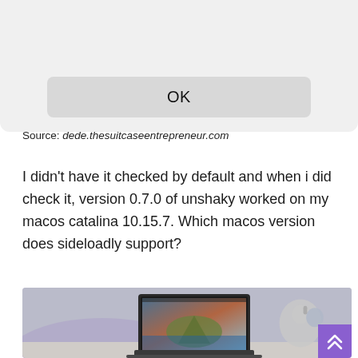[Figure (screenshot): macOS dialog box showing an OK button at the bottom, with a light gray background, rounded corners visible at bottom]
Source: dede.thesuitcaseentrepreneur.com
I didn't have it checked by default and when i did check it, version 0.7.0 of unshaky worked on my macos catalina 10.15.7. Which macos version does sideloadly support?
[Figure (photo): Photo of a MacBook laptop on a desk with macOS Catalina wallpaper showing, Apple logo visible in background on right, purple ambient lighting]